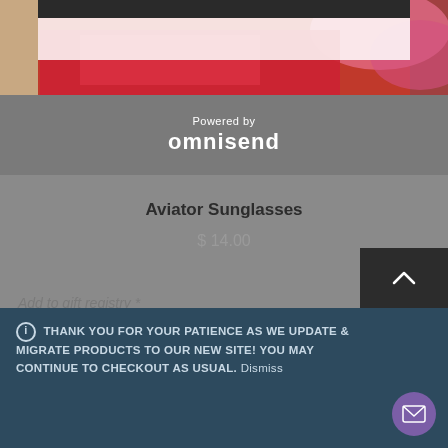[Figure (photo): Top portion of a product page screenshot showing a red/pink fashion item background with a dark navigation bar at top and white overlay area]
[Figure (logo): Powered by omnisend branding block on grey background]
Aviator Sunglasses
$ 14.00
Add to gift registry *
THANK YOU FOR YOUR PATIENCE AS WE UPDATE & MIGRATE PRODUCTS TO OUR NEW SITE! YOU MAY CONTINUE TO CHECKOUT AS USUAL. Dismiss